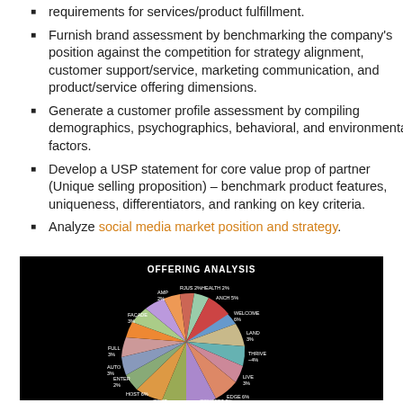requirements for services/product fulfillment.
Furnish brand assessment by benchmarking the company's position against the competition for strategy alignment, customer support/service, marketing communication, and product/service offering dimensions.
Generate a customer profile assessment by compiling demographics, psychographics, behavioral, and environmental factors.
Develop a USP statement for core value prop of partner (Unique selling proposition) – benchmark product features, uniqueness, differentiators, and ranking on key criteria.
Analyze social media market position and strategy.
[Figure (pie-chart): Pie chart titled 'OFFERING ANALYSIS' on black background showing multiple segments including WELCOME (~6%), LAND (~3%), THRIVE (~4%), LIVE (~3%), EDGE (~6%), CONCEPT (~7%), CORP (~4%), HOST (~6%), ENTER (~2%), AMP (~2%), FAÇADE (~3%), and other segments, each labeled with category name and percentage.]